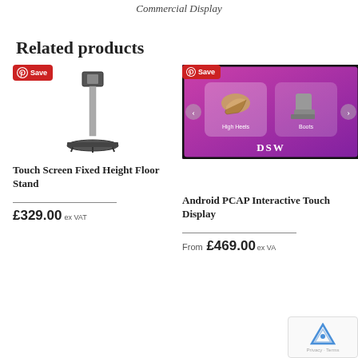Commercial Display
Related products
[Figure (photo): Touch Screen Fixed Height Floor Stand product image with Pinterest Save button]
Touch Screen Fixed Height Floor Stand
£329.00 ex VAT
[Figure (photo): Android PCAP Interactive Touch Display showing DSW shoe store interface with High Heels and Boots categories, with Pinterest Save button]
Android PCAP Interactive Touch Display
From £469.00 ex VAT